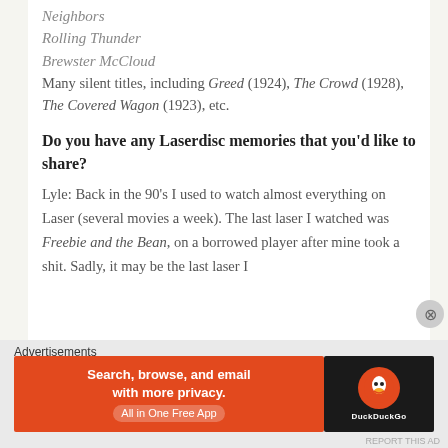Neighbors
Rolling Thunder
Brewster McCloud
Many silent titles, including Greed (1924), The Crowd (1928), The Covered Wagon (1923), etc.
Do you have any Laserdisc memories that you'd like to share?
Lyle: Back in the 90's I used to watch almost everything on Laser (several movies a week). The last laser I watched was Freebie and the Bean, on a borrowed player after mine took a shit. Sadly, it may be the last laser I
Advertisements
[Figure (other): DuckDuckGo advertisement banner: 'Search, browse, and email with more privacy. All in One Free App' with DuckDuckGo logo on dark background]